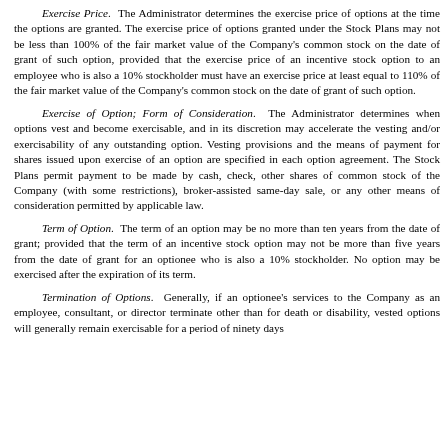Exercise Price. The Administrator determines the exercise price of options at the time the options are granted. The exercise price of options granted under the Stock Plans may not be less than 100% of the fair market value of the Company's common stock on the date of grant of such option, provided that the exercise price of an incentive stock option to an employee who is also a 10% stockholder must have an exercise price at least equal to 110% of the fair market value of the Company's common stock on the date of grant of such option.
Exercise of Option; Form of Consideration. The Administrator determines when options vest and become exercisable, and in its discretion may accelerate the vesting and/or exercisability of any outstanding option. Vesting provisions and the means of payment for shares issued upon exercise of an option are specified in each option agreement. The Stock Plans permit payment to be made by cash, check, other shares of common stock of the Company (with some restrictions), broker-assisted same-day sale, or any other means of consideration permitted by applicable law.
Term of Option. The term of an option may be no more than ten years from the date of grant; provided that the term of an incentive stock option may not be more than five years from the date of grant for an optionee who is also a 10% stockholder. No option may be exercised after the expiration of its term.
Termination of Options. Generally, if an optionee's services to the Company as an employee, consultant, or director terminate other than for death or disability, vested options will generally remain exercisable for a period of ninety days